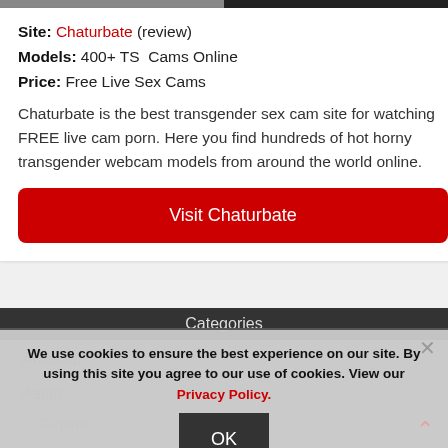[Figure (photo): Top image bar showing partial photo strip]
Site: Chaturbate (review)
Models: 400+ TS Cams Online
Price: Free Live Sex Cams
Chaturbate is the best transgender sex cam site for watching FREE live cam porn. Here you find hundreds of hot horny transgender webcam models from around the world online.
Visit Chaturbate
Categories
Amateur
Asian
Filipina
We use cookies to ensure the best experience on our site. By using this site you agree to our use of cookies. View our Privacy Policy.
OK